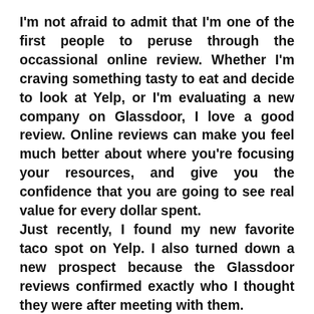I'm not afraid to admit that I'm one of the first people to peruse through the occassional online review. Whether I'm craving something tasty to eat and decide to look at Yelp, or I'm evaluating a new company on Glassdoor, I love a good review. Online reviews can make you feel much better about where you're focusing your resources, and give you the confidence that you are going to see real value for every dollar spent.
Just recently, I found my new favorite taco spot on Yelp. I also turned down a new prospect because the Glassdoor reviews confirmed exactly who I thought they were after meeting with them.
I detail these experiences to also note that everyone should take online reviews with a